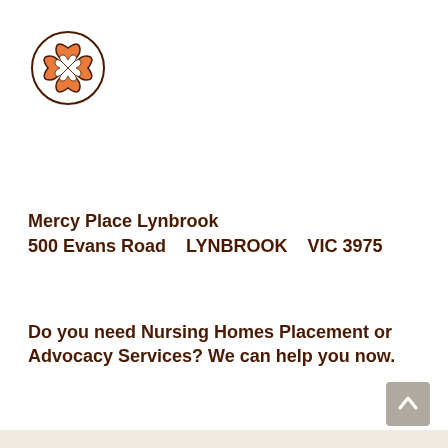[Figure (logo): Mercy Place logo: circular badge with four heart-shaped petals forming a four-leaf clover pattern, orange/salmon and white with dark outline]
Mercy Place Lynbrook
500 Evans Road    LYNBROOK    VIC 3975
Do you need Nursing Homes Placement or Advocacy Services? We can help you now.